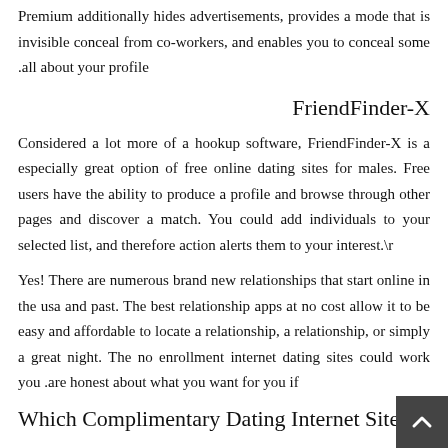Premium additionally hides advertisements, provides a mode that is invisible conceal from co-workers, and enables you to conceal some all about your profile.
FriendFinder-X
Considered a lot more of a hookup software, FriendFinder-X is a especially great option of free online dating sites for males. Free users have the ability to produce a profile and browse through other pages and discover a match. You could add individuals to your selected list, and therefore action alerts them to your interest.\r
Yes! There are numerous brand new relationships that start online in the usa and past. The best relationship apps at no cost allow it to be easy and affordable to locate a relationship, a relationship, or simply a great night. The no enrollment internet dating sites could work you are honest about what you want for you if.
Which Complimentary Dating Internet Site